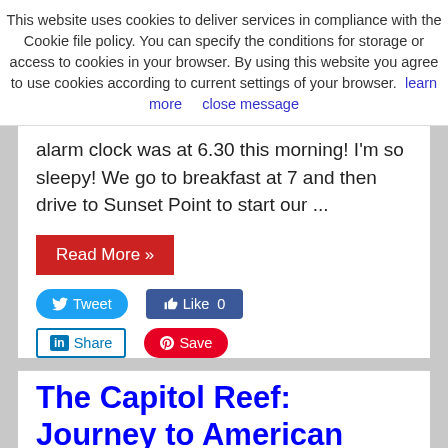This website uses cookies to deliver services in compliance with the Cookie file policy. You can specify the conditions for storage or access to cookies in your browser. By using this website you agree to use cookies according to current settings of your browser. learn more   close message
alarm clock was at 6.30 this morning! I'm so sleepy! We go to breakfast at 7 and then drive to Sunset Point to start our ...
Read More »
[Figure (screenshot): Social sharing buttons: Tweet (Twitter), Like 0 (Facebook), Share (LinkedIn), Save (Pinterest)]
The Capitol Reef: Journey to American